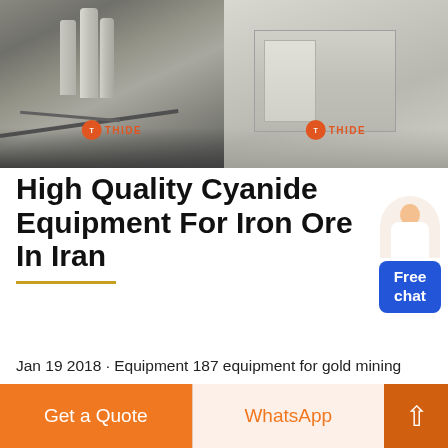[Figure (photo): Two side-by-side photos of industrial mining/processing equipment and facilities. Left photo shows heavy machinery with silos and conveyors with 'THIDE' logo overlay. Right photo shows a concrete structure with 'THIDE' logo overlay.]
High Quality Cyanide Equipment For Iron Ore In Iran
Jan 19 2018 · Equipment 187 equipment for gold mining crusher belt conveyor equipment for gold mining crusher belt conveyor Kolkata ulan coal mine in pit crusher iran 2010 2011 This material is intended for use in lectures presentations and as handouts to students and is provided in Power point format so as to allow customization for the
[Figure (illustration): Customer service avatar / chat widget with a female figure and a blue 'Free chat' button]
Get a Quote
WhatsApp